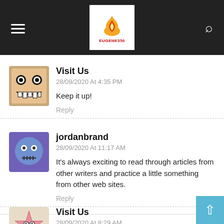Eugene350 website header with hamburger menu and search icon
Visit Us
28/09/2020 At 4:35 PM
Keep it up!
Reply
jordanbrand
28/09/2020 At 11:17 AM
It's always exciting to read through articles from other writers and practice a little something from other web sites.
Reply
Visit Us
28/09/2020 At 8:29 AM